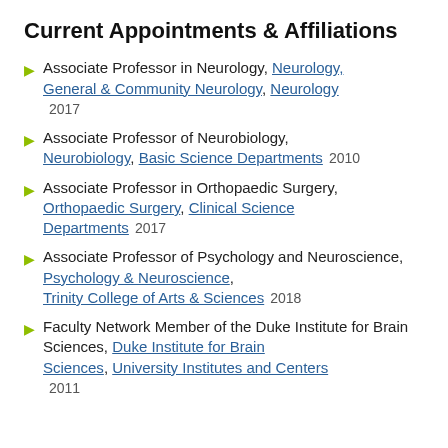Current Appointments & Affiliations
Associate Professor in Neurology, Neurology, General & Community Neurology, Neurology  2017
Associate Professor of Neurobiology, Neurobiology, Basic Science Departments  2010
Associate Professor in Orthopaedic Surgery, Orthopaedic Surgery, Clinical Science Departments  2017
Associate Professor of Psychology and Neuroscience, Psychology & Neuroscience, Trinity College of Arts & Sciences  2018
Faculty Network Member of the Duke Institute for Brain Sciences, Duke Institute for Brain Sciences, University Institutes and Centers  2011